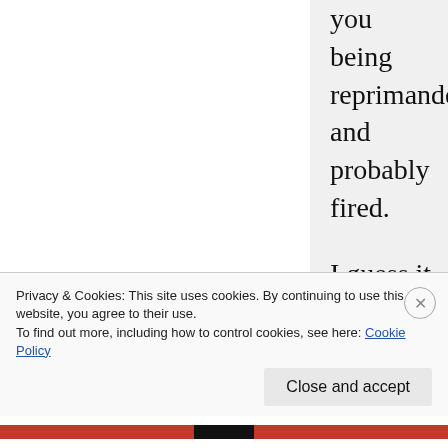you being reprimanded and probably fired.

I guess it is because I don’t regard the word “fat” as an expletive. I don’t view it as a negative word. It is just a word. Fat. I need to use it in my job to discuss programs.

It comes down to intent. Take, for example, the quote early on in my article: “It is important to understand that obesity is not the
Privacy & Cookies: This site uses cookies. By continuing to use this website, you agree to their use.
To find out more, including how to control cookies, see here: Cookie Policy